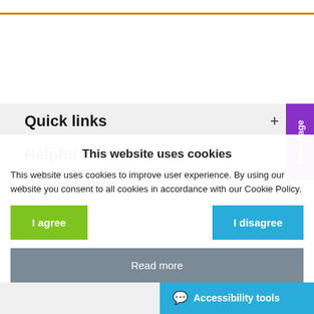Quick links +
Helpful Information +
Get in touch +
This website uses cookies
This website uses cookies to improve user experience. By using our website you consent to all cookies in accordance with our Cookie Policy.
I agree
I disagree
Read more
© 2022 SCRA
Accessibility tools